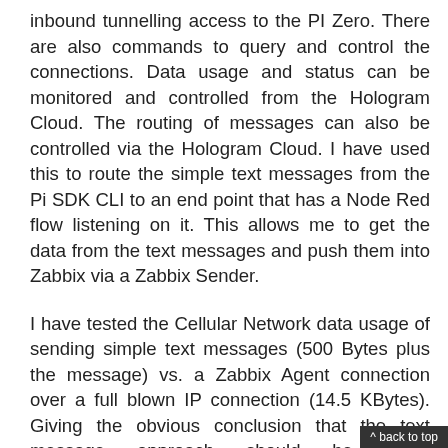inbound tunnelling access to the PI Zero. There are also commands to query and control the connections. Data usage and status can be monitored and controlled from the Hologram Cloud. The routing of messages can also be controlled via the Hologram Cloud. I have used this to route the simple text messages from the Pi SDK CLI to an end point that has a Node Red flow listening on it. This allows me to get the data from the text messages and push them into Zabbix via a Zabbix Sender.
I have tested the Cellular Network data usage of sending simple text messages (500 Bytes plus the message) vs. a Zabbix Agent connection over a full blown IP connection (14.5 KBytes). Giving the obvious conclusion that the text message approach should be used. Optimisation of traffic is a
^ back to top